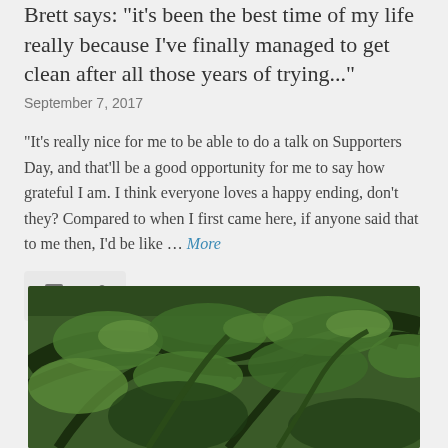Brett says: “it's been the best time of my life really because I've finally managed to get clean after all those years of trying...”
September 7, 2017
“It’s really nice for me to be able to do a talk on Supporters Day, and that’ll be a good opportunity for me to say how grateful I am. I think everyone loves a happy ending, don’t they? Compared to when I first came here, if anyone said that to me then, I’d be like … More
[Figure (photo): Forest or jungle scene with dense green foliage and arching tree branches]